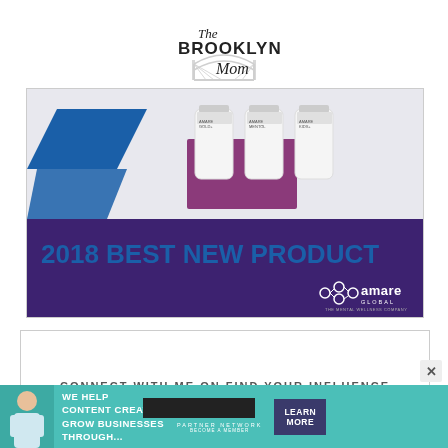[Figure (logo): The Brooklyn Mom blog logo with script and bridge illustration]
[Figure (photo): Amare Global 2018 Best New Product advertisement showing supplement bottles on purple background with blue geometric shapes]
CONNECT WITH ME ON FIND YOUR INFLUENCE
[Figure (photo): SHE Media Partner Network banner ad: We Help Content Creators Grow Businesses Through... with Learn More CTA button]